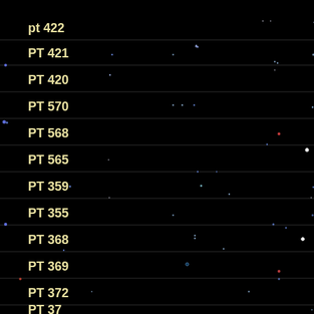[Figure (photo): Astronomical star field image showing multiple rows of star observations, each row labeled with a photometric standard star identifier (pt 422, PT 421, PT 420, PT 570, PT 568, PT 565, PT 359, PT 355, PT 368, PT 369, PT 372, PT 374). Each row shows scattered faint blue/white stars against a black background, separated by thin horizontal lines.]
pt 422
PT 421
PT 420
PT 570
PT 568
PT 565
PT 359
PT 355
PT 368
PT 369
PT 372
PT 374